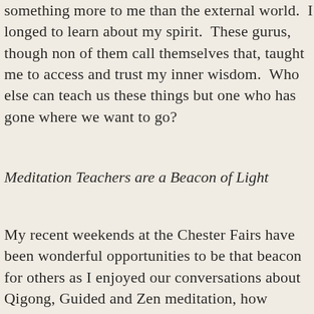something more to me than the external world. I longed to learn about my spirit. These gurus, though non of them call themselves that, taught me to access and trust my inner wisdom. Who else can teach us these things but one who has gone where we want to go?
Meditation Teachers are a Beacon of Light
My recent weekends at the Chester Fairs have been wonderful opportunities to be that beacon for others as I enjoyed our conversations about Qigong, Guided and Zen meditation, how meditative work can alleviate anxiety and the very basics of energetics as vibrations moving through